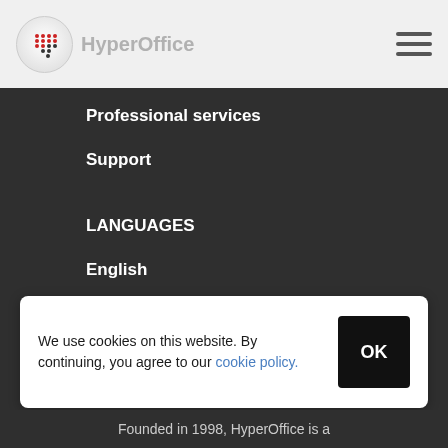[Figure (logo): HyperOffice logo with circular icon and brand name, with tagline text overlaid]
Professional services
Support
LANGUAGES
English
Spanish
We use cookies on this website. By continuing, you agree to our cookie policy.
Founded in 1998, HyperOffice is a